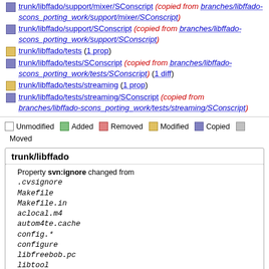trunk/libffado/support/mixer/SConscript (copied from branches/libffado-scons_porting_work/support/mixer/SConscript)
trunk/libffado/support/SConscript (copied from branches/libffado-scons_porting_work/support/SConscript)
trunk/libffado/tests (1 prop)
trunk/libffado/tests/SConscript (copied from branches/libffado-scons_porting_work/tests/SConscript) (1 diff)
trunk/libffado/tests/streaming (1 prop)
trunk/libffado/tests/streaming/SConscript (copied from branches/libffado-scons_porting_work/tests/streaming/SConscript)
Legend: Unmodified Added Removed Modified Copied Moved
trunk/libffado
Property svn:ignore changed from
.cvsignore
Makefile
Makefile.in
aclocal.m4
autom4te.cache
config.*
configure
libfreebob.pc
libtool
stamp*